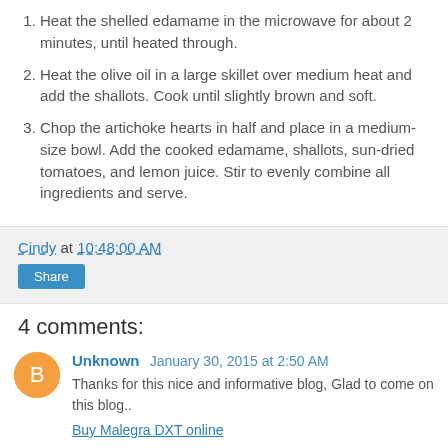1. Heat the shelled edamame in the microwave for about 2 minutes, until heated through.
2. Heat the olive oil in a large skillet over medium heat and add the shallots. Cook until slightly brown and soft.
3. Chop the artichoke hearts in half and place in a medium-size bowl. Add the cooked edamame, shallots, sun-dried tomatoes, and lemon juice. Stir to evenly combine all ingredients and serve.
Cindy at 10:48:00 AM
Share
4 comments:
Unknown January 30, 2015 at 2:50 AM
Thanks for this nice and informative blog, Glad to come on this blog..
Buy Malegra DXT online